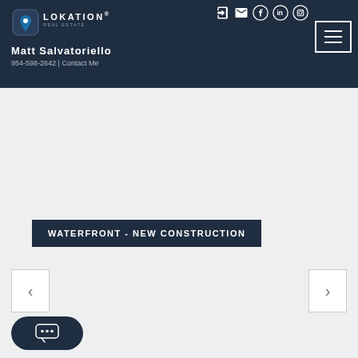[Figure (screenshot): Real estate website header with Lokation Real Estate logo, agent name Matt Salvatoriello, phone number, social media icons, and hamburger menu button on dark navy background]
MATT SALVATORIELLO
954-598-2642 | Contact Me
WATERFRONT - NEW CONSTRUCTION
[Figure (other): Left arrow carousel navigation button]
[Figure (other): Right arrow carousel navigation button]
[Figure (other): Chat widget button with speech bubble dots icon]